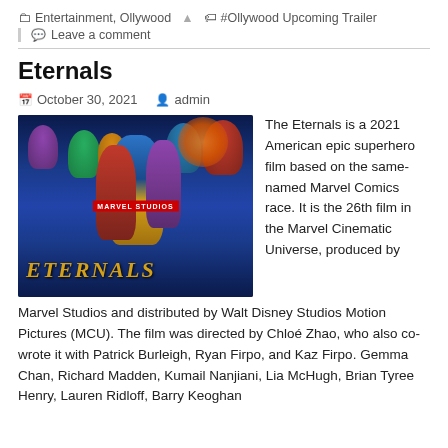Entertainment, Ollywood  #Ollywood Upcoming Trailer
Leave a comment
Eternals
October 30, 2021  admin
[Figure (photo): Eternals Marvel Studios movie poster showing multiple superhero characters with ETERNALS logo and MARVEL STUDIOS badge]
The Eternals is a 2021 American epic superhero film based on the same-named Marvel Comics race. It is the 26th film in the Marvel Cinematic Universe, produced by Marvel Studios and distributed by Walt Disney Studios Motion Pictures (MCU). The film was directed by Chloé Zhao, who also co-wrote it with Patrick Burleigh, Ryan Firpo, and Kaz Firpo. Gemma Chan, Richard Madden, Kumail Nanjiani, Lia McHugh, Brian Tyree Henry, Lauren Ridloff, Barry Keoghan